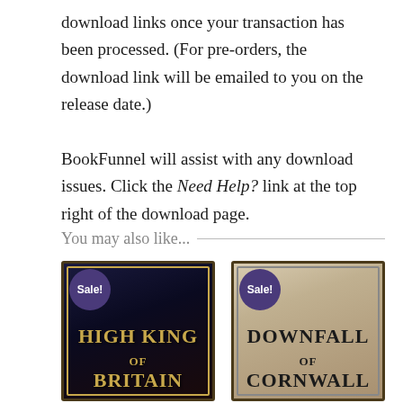download links once your transaction has been processed. (For pre-orders, the download link will be emailed to you on the release date.)

BookFunnel will assist with any download issues. Click the Need Help? link at the top right of the download page.
You may also like...
[Figure (illustration): Book cover for 'High King of Britain' with a Sale! badge, dark fantasy style with gold border decoration]
[Figure (illustration): Book cover for 'Downfall of Cornwall' with a Sale! badge, light parchment style with dark border decoration]